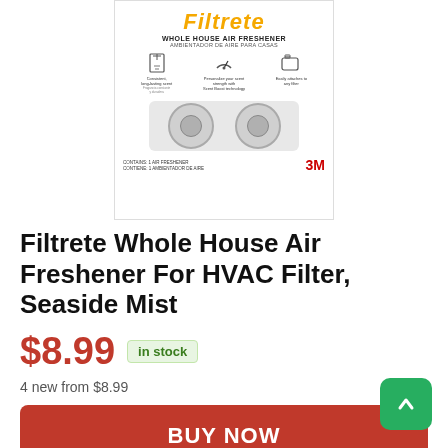[Figure (photo): Filtrete Whole House Air Freshener product box. Box shows the Filtrete logo in gold/yellow italic text, subtitle 'WHOLE HOUSE AIR FRESHENER / AMBIENTADOR DE AIRE PARA CASAS', three feature icons with descriptions (consistent long-lasting scent, personalize your scent strength with Scent Boost technology, easily attaches to any filter), two circular disc-shaped air fresheners in plastic window packaging, text 'CONTAINS: 1 AIR FRESHENER / CONTIENE: 1 AMBIENTADOR DE AIRE', and 3M logo in red.]
Filtrete Whole House Air Freshener For HVAC Filter, Seaside Mist
$8.99  in stock
4 new from $8.99
BUY NOW